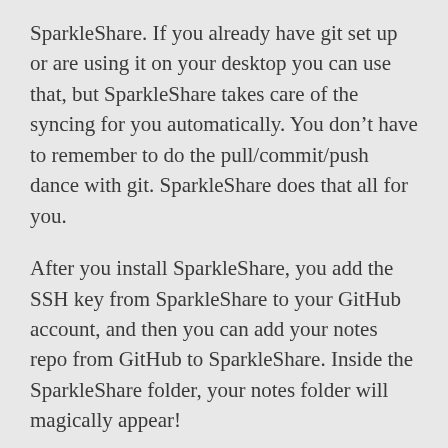SparkleShare. If you already have git set up or are using it on your desktop you can use that, but SparkleShare takes care of the syncing for you automatically. You don’t have to remember to do the pull/commit/push dance with git. SparkleShare does that all for you.
After you install SparkleShare, you add the SSH key from SparkleShare to your GitHub account, and then you can add your notes repo from GitHub to SparkleShare. Inside the SparkleShare folder, your notes folder will magically appear!
From then on any change you do to your notes folder will automatically be synced and sent up to GitHub.